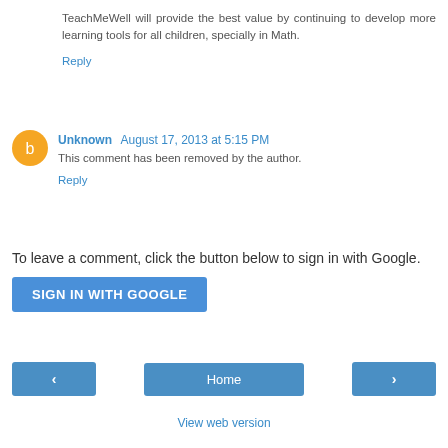TeachMeWell will provide the best value by continuing to develop more learning tools for all children, specially in Math.
Reply
Unknown August 17, 2013 at 5:15 PM
This comment has been removed by the author.
Reply
To leave a comment, click the button below to sign in with Google.
SIGN IN WITH GOOGLE
Home
View web version